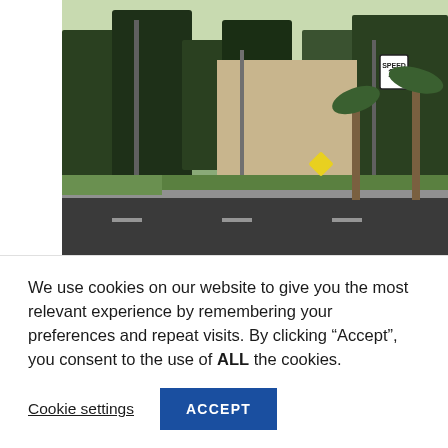[Figure (photo): Street scene in San Diego showing a road with palm trees, buildings, and a speed limit 15 sign. Sunny daytime urban landscape.]
San Diego: A Virtual Great Saunter Tour
October 23, 2021 | Hike Report, Virtual Great Saunter
Exploring San Diego on foot...
We use cookies on our website to give you the most relevant experience by remembering your preferences and repeat visits. By clicking “Accept”, you consent to the use of ALL the cookies.
Cookie settings | ACCEPT